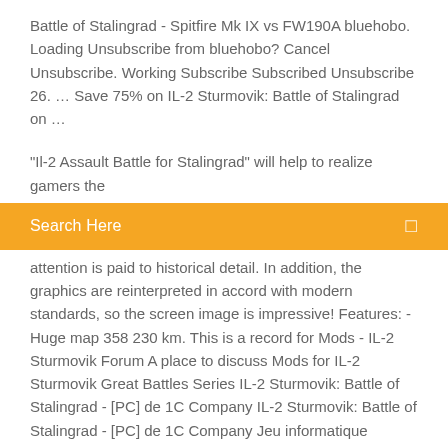Battle of Stalingrad - Spitfire Mk IX vs FW190A bluehobo. Loading Unsubscribe from bluehobo? Cancel Unsubscribe. Working Subscribe Subscribed Unsubscribe 26. … Save 75% on IL-2 Sturmovik: Battle of Stalingrad on …
"Il-2 Assault Battle for Stalingrad" will help to realize gamers the
Search Here
attention is paid to historical detail. In addition, the graphics are reinterpreted in accord with modern standards, so the screen image is impressive! Features: - Huge map 358 230 km. This is a record for Mods - IL-2 Sturmovik Forum A place to discuss Mods for IL-2 Sturmovik Great Battles Series IL-2 Sturmovik: Battle of Stalingrad - [PC] de 1C Company IL-2 Sturmovik: Battle of Stalingrad - [PC] de 1C Company Jeu informatique Commandez cet article chez momox-shop.fr.
Media / IL-2 Sturmovik: Great Battles This latest product is a